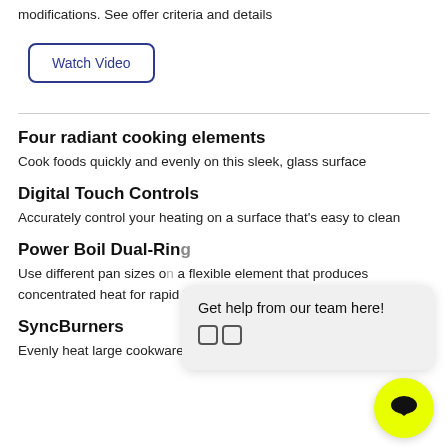modifications. See offer criteria and details
Watch Video
Four radiant cooking elements
Cook foods quickly and evenly on this sleek, glass surface
Digital Touch Controls
Accurately control your heating on a surface that's easy to clean
Power Boil Dual-Ring
Use different pan sizes on a flexible element that produces concentrated heat for rapid boiling
SyncBurners
Evenly heat large cookware (griddles) with two 7"
[Figure (other): Chat popup overlay with text 'Get help from our team here!' and emoji icons, plus a yellow circular chat button]